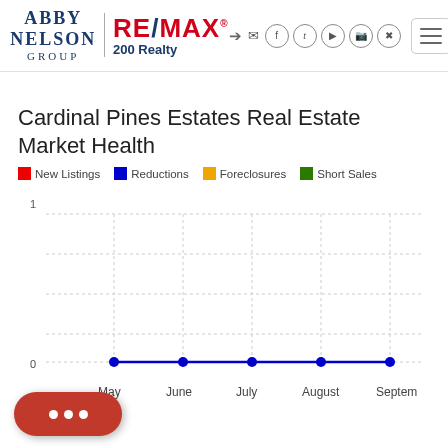Abby Nelson Group | RE/MAX 200 Realty
Cardinal Pines Estates Real Estate Market Health
[Figure (line-chart): Cardinal Pines Estates Real Estate Market Health]